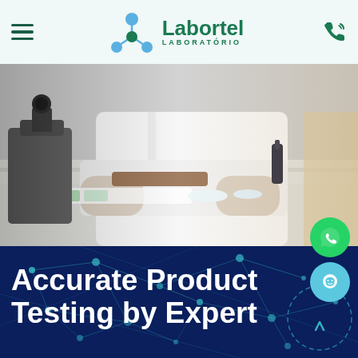Labortel Laboratório
[Figure (photo): Scientist in white lab coat working with samples under a microscope in a laboratory setting]
[Figure (infographic): Dark blue banner with teal network/molecule connection lines and dots pattern as background]
Accurate Product Testing by Expert